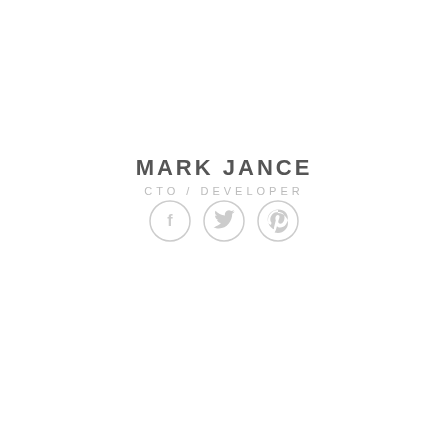MARK JANCE
CTO / DEVELOPER
[Figure (illustration): Three social media icons in circles: Facebook (f), Twitter (bird), Pinterest (p), rendered in light gray outlines]